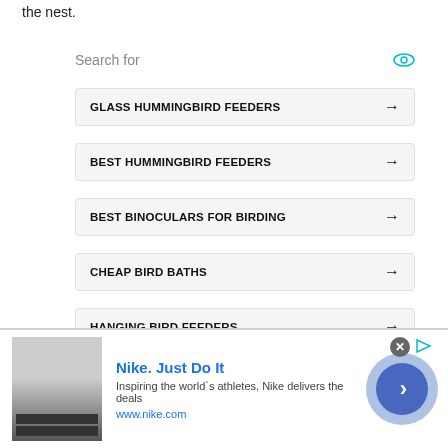the nest.
GLASS HUMMINGBIRD FEEDERS
BEST HUMMINGBIRD FEEDERS
BEST BINOCULARS FOR BIRDING
CHEAP BIRD BATHS
HANGING BIRD FEEDERS
3.  Allen's Hummingbird
Nike. Just Do It
Inspiring the world's athletes, Nike delivers the deals
www.nike.com